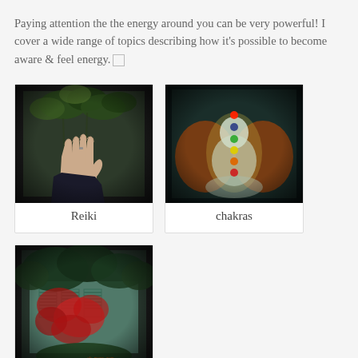Paying attention the the energy around you can be very powerful! I cover a wide range of topics describing how it's possible to become aware & feel energy.
[Figure (photo): A hand reaching upward with plants/nature in the background, dark vignette border]
Reiki
[Figure (photo): Illustration of a meditating figure with colorful chakra points along the body, dark vignette border]
chakras
[Figure (photo): Outdoor nature scene with red flowering bush in front of a building with shuttered windows, dark vignette border]